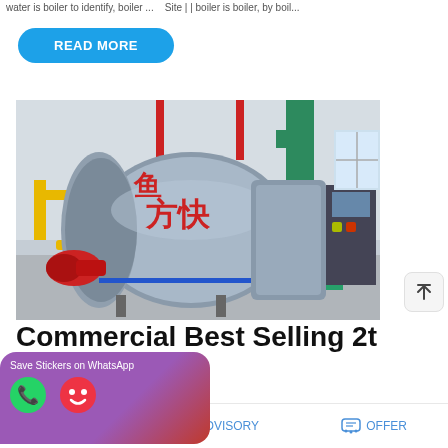water is boiler to identify, boiler ... Site | | boiler is boiler, by boil...
READ MORE
[Figure (photo): Industrial boiler room with large cylindrical boiler tanks, red burner, yellow gas pipes, green pipes, and control panel. Chinese characters visible on boiler.]
Commercial Best Selling 2t er Moldavia
Save Stickers on WhatsApp
MAIL   ADVISORY   OFFER